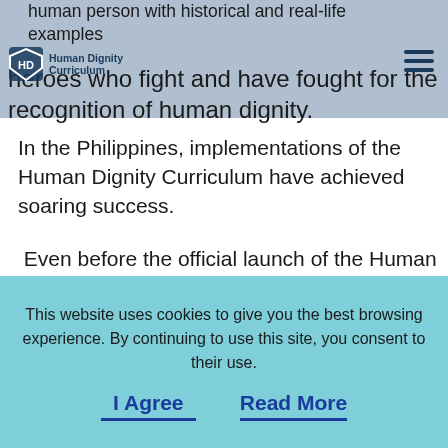Human Dignity Curriculum
human person with historical and real-life examples of heroes who fight and have fought for the recognition of human dignity.
In the Philippines, implementations of the Human Dignity Curriculum have achieved soaring success.
Even before the official launch of the Human Dignity Curriculum in 2017, pilot implementations of the program in Mandaluyong City and in two local slum communities in the Philippines were very successful, paving the way for future implementations across
This website uses cookies to give you the best browsing experience. By continuing to use this site, you consent to their use.
I Agree
Read More